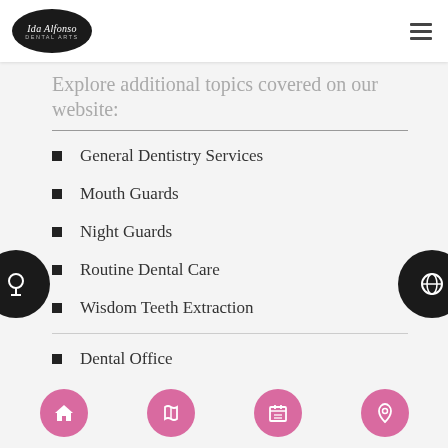Ida Alfonso Dental Arts
Explore additional topics covered on our website:
General Dentistry Services
Mouth Guards
Night Guards
Routine Dental Care
Wisdom Teeth Extraction
Dental Office
Find the Best Dentist in Carlsbad